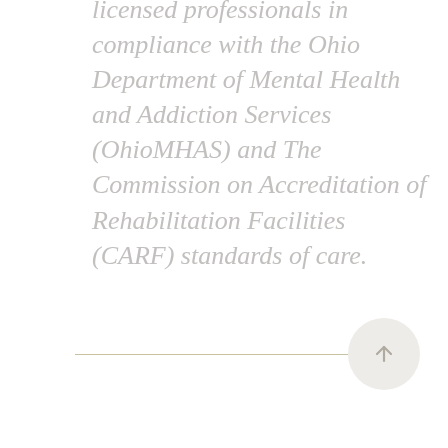licensed professionals in compliance with the Ohio Department of Mental Health and Addiction Services (OhioMHAS) and The Commission on Accreditation of Rehabilitation Facilities (CARF) standards of care.